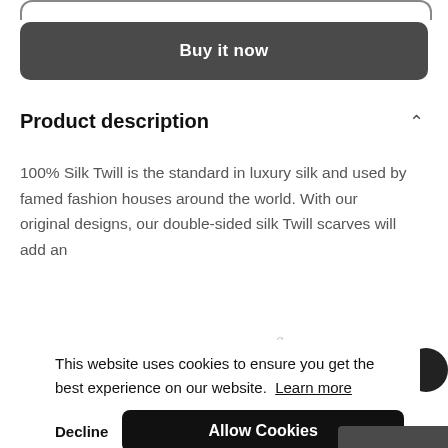[Figure (screenshot): Top arc/bracket shape at the very top of the page]
Buy it now
Product description
100% Silk Twill is the standard in luxury silk and used by famed fashion houses around the world. With our original designs, our double-sided silk Twill scarves will add an
This website uses cookies to ensure you get the best experience on our website. Learn more
Decline
Allow Cookies